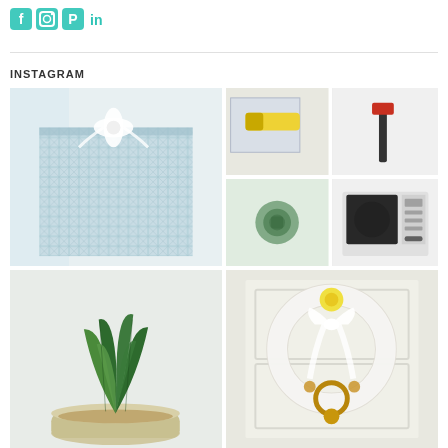Social media icons: Facebook, Instagram, Pinterest, LinkedIn
INSTAGRAM
[Figure (photo): Gift box wrapped in blue and white checkered/grid pattern wrapping paper with a white bow on top, photographed indoors]
[Figure (photo): Four-panel collage: top-left shows yellow tape measure on paper/blueprints, top-right shows a hammer on white surface, bottom-left shows a green decorative knob or cabinet pull, bottom-right shows a white microwave oven]
[Figure (photo): Snake plant (Sansevieria) in a white pot with pebbles, photographed indoors]
[Figure (photo): White door wreath with white fabric bow and yellow flower decoration, with brass door knocker visible below]